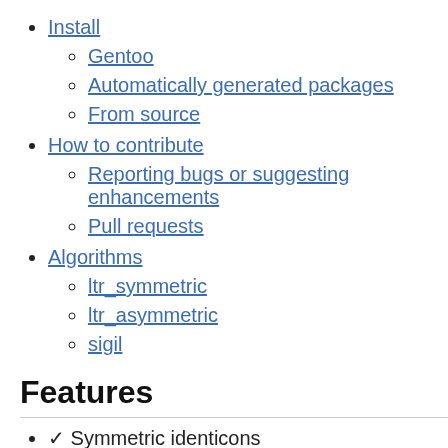Install
Gentoo
Automatically generated packages
From source
How to contribute
Reporting bugs or suggesting enhancements
Pull requests
Algorithms
ltr_symmetric
ltr_asymmetric
sigil
Features
✓ Symmetric identicons
✓ sigil identicons
✓ Asymmetric identicons